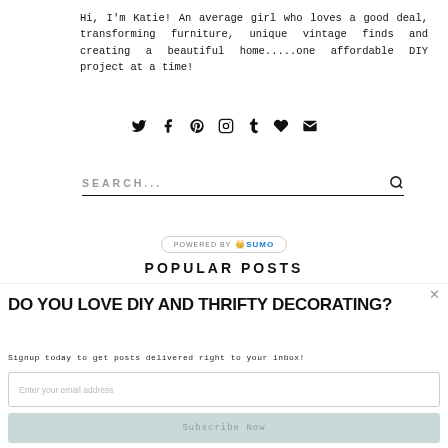Hi, I'm Katie! An average girl who loves a good deal, transforming furniture, unique vintage finds and creating a beautiful home.....one affordable DIY project at a time!
[Figure (infographic): Row of 7 social media icons: Twitter, Facebook, Pinterest, Instagram, Tumblr, heart (favorites), envelope (email)]
SEARCH...
[Figure (infographic): Powered by SUMO badge/button]
POPULAR POSTS
DO YOU LOVE DIY AND THRIFTY DECORATING?
Signup today to get posts delivered right to your inbox!
Enter your email address
Subscribe Now